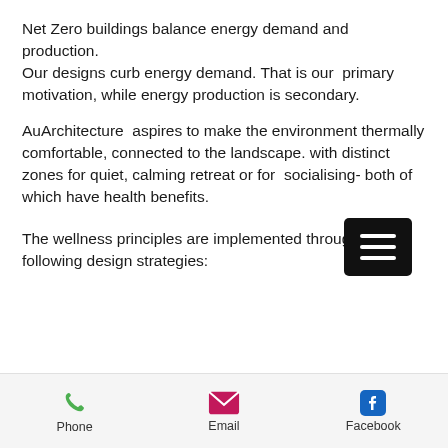Net Zero buildings balance energy demand and production.
Our designs curb energy demand. That is our  primary motivation, while energy production is secondary.
[Figure (other): Hamburger menu button (three horizontal white lines on black rounded rectangle background)]
AuArchitecture  aspires to make the environment thermally comfortable, connected to the landscape. with distinct zones for quiet, calming retreat or for  socialising- both of which have health benefits.
The wellness principles are implemented through the following design strategies:
[Figure (infographic): Footer bar with Phone (green phone icon), Email (pink/magenta envelope icon), Facebook (blue Facebook icon) links]
Phone   Email   Facebook